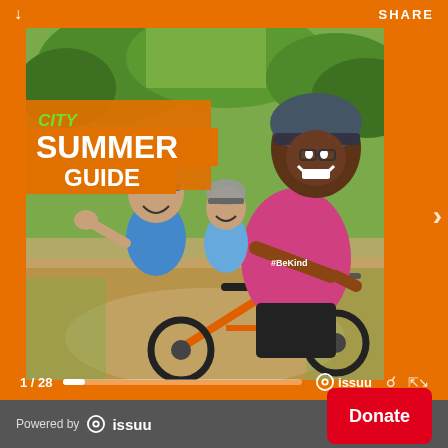[Figure (photo): Screenshot of an Issuu digital magazine viewer showing the cover of a 'City Summer Guide'. The cover features a smiling man wearing a cycling helmet and pink t-shirt with '#BeKind' on it, riding an orange bike in a park setting. Two children wearing helmets stand behind him. Green trees are visible in the background. The cover title reads 'CITY SUMMER GUIDE' in white and orange bold text. The viewer UI shows page indicator '1 / 28', a progress bar, Issuu logo, magnify and expand icons. The background of the viewer is orange. A 'Powered by issuu' footer bar is at the bottom with a red 'Donate' button.]
1 / 28
Powered by issuu
Donate